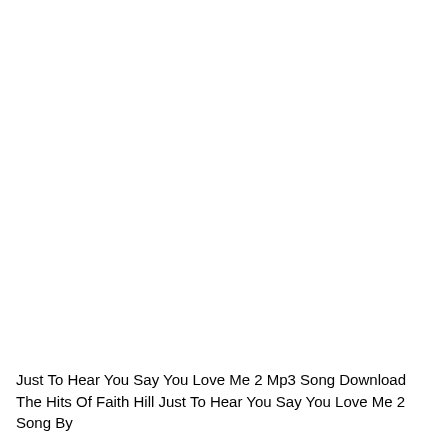Just To Hear You Say You Love Me 2 Mp3 Song Download The Hits Of Faith Hill Just To Hear You Say You Love Me 2 Song By